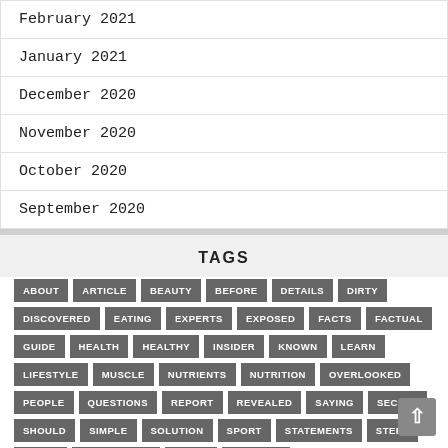February 2021
January 2021
December 2020
November 2020
October 2020
September 2020
TAGS
ABOUT ARTICLE BEAUTY BEFORE DETAILS DIRTY DISCOVERED EATING EXPERTS EXPOSED FACTS FACTUAL GUIDE HEALTH HEALTHY INSIDER KNOWN LEARN LIFESTYLE MUSCLE NUTRIENTS NUTRITION OVERLOOKED PEOPLE QUESTIONS REPORT REVEALED SAYING SECRET SHOULD SIMPLE SOLUTION SPORT STATEMENTS STEPS STORY SUPPLEMENT TODAY TRAINING